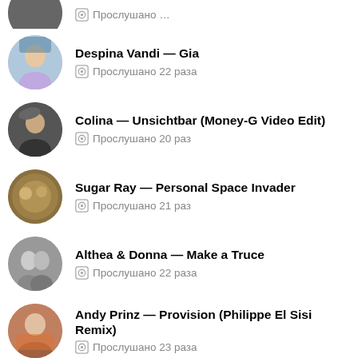(partial item at top)
Despina Vandi — Gia
Прослушано 22 раза
Colina — Unsichtbar (Money-G Video Edit)
Прослушано 20 раз
Sugar Ray — Personal Space Invader
Прослушано 21 раз
Althea & Donna — Make a Truce
Прослушано 22 раза
Andy Prinz — Provision (Philippe El Sisi Remix)
Прослушано 23 раза
Agnaldo Rayol — Chove L&aacute; Fora
Прослушано 24 раза